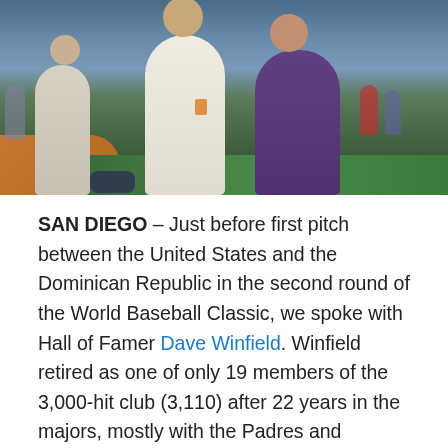[Figure (photo): Three people posing together on a baseball field before a game, with stadium seating visible in the background. One person is wearing a white outfit, another in a dark jacket with a credential badge, and a third in a purple jacket.]
SAN DIEGO – Just before first pitch between the United States and the Dominican Republic in the second round of the World Baseball Classic, we spoke with Hall of Famer Dave Winfield. Winfield retired as one of only 19 members of the 3,000-hit club (3,110) after 22 years in the majors, mostly with the Padres and Yankees. He was a 12-time All-Star, seven-time Gold Glove winner, and was elected to the Hall of Fame on the first ballot.
Winfield, standing only a few feet from home plate with a game ball in hand, took a few minutes to give us his